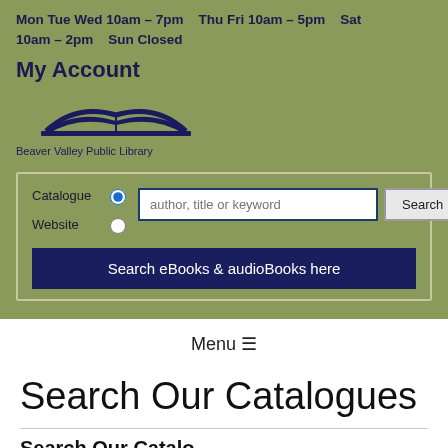Mon Tue Wed 10am – 7pm   Thu Fri 10am – 5pm   Sat 10am – 2pm   Sun Closed
My Account
[Figure (logo): Beaver Valley Public Library logo with open book icon]
[Figure (screenshot): Search widget with Catalogue/Website radio buttons, author/title/keyword text input, Search button, and Search eBooks & audioBooks here button]
Menu ≡
Search Our Catalogues
Search Our Catalogues (partial, cut off)